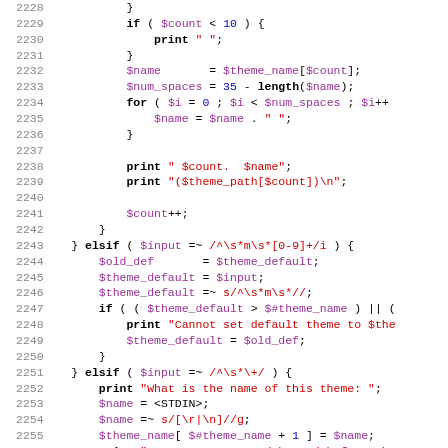[Figure (screenshot): Source code listing in PHP/Perl showing lines 2228-2259 with syntax highlighting. Line numbers in gray on left, keywords in bold black, variables in purple, numbers in blue, strings in red.]